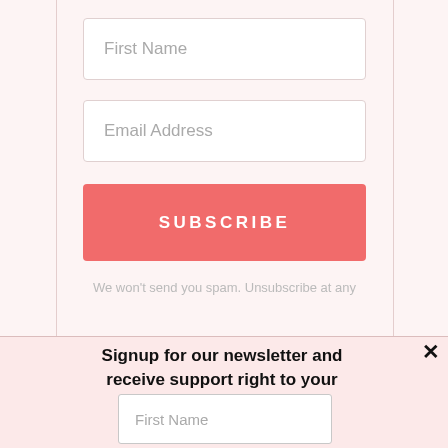[Figure (screenshot): A web page showing a newsletter signup form with First Name and Email Address input fields, a coral/salmon colored SUBSCRIBE button, and placeholder text 'We won't send you spam. Unsubscribe at any'. Overlaid on top of this is a popup modal with a light pink background containing the heading 'Signup for our newsletter and receive support right to your inbox!', an X close button, First Name and Email input fields, and a pink SIGN ME UP button. A circle-X close button appears at the bottom right of the popup.]